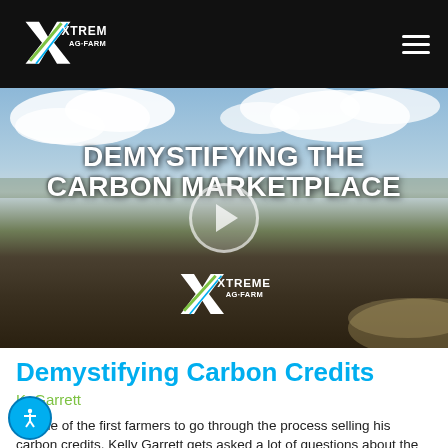XtremeAg.farm — navigation bar with logo and menu
[Figure (screenshot): Video thumbnail for 'Demystifying The Carbon Marketplace' with farm field background, play button, and XtremeAg logo overlay]
Demystifying Carbon Credits
K. Garrett
As one of the first farmers to go through the process selling his carbon credits, Kelly Garrett gets asked a lot of questions about the all parts of the process. In